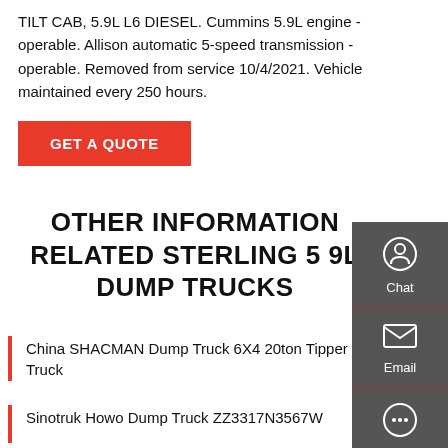TILT CAB, 5.9L L6 DIESEL. Cummins 5.9L engine - operable. Allison automatic 5-speed transmission - operable. Removed from service 10/4/2021. Vehicle maintained every 250 hours.
GET A QUOTE
OTHER INFORMATION RELATED STERLING 5 9L DUMP TRUCKS
China SHACMAN Dump Truck 6X4 20ton Tipper Truck
Sinotruk Howo Dump Truck ZZ3317N3567W